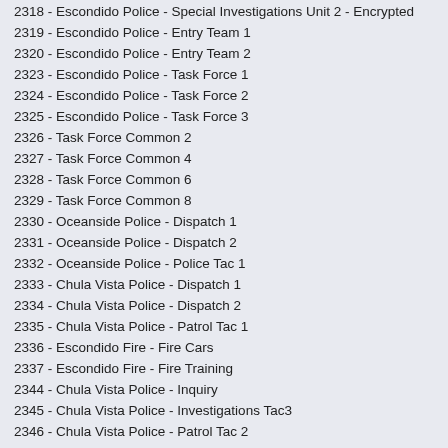2318 - Escondido Police - Special Investigations Unit 2 - Encrypted
2319 - Escondido Police - Entry Team 1
2320 - Escondido Police - Entry Team 2
2323 - Escondido Police - Task Force 1
2324 - Escondido Police - Task Force 2
2325 - Escondido Police - Task Force 3
2326 - Task Force Common 2
2327 - Task Force Common 4
2328 - Task Force Common 6
2329 - Task Force Common 8
2330 - Oceanside Police - Dispatch 1
2331 - Oceanside Police - Dispatch 2
2332 - Oceanside Police - Police Tac 1
2333 - Chula Vista Police - Dispatch 1
2334 - Chula Vista Police - Dispatch 2
2335 - Chula Vista Police - Patrol Tac 1
2336 - Escondido Fire - Fire Cars
2337 - Escondido Fire - Fire Training
2344 - Chula Vista Police - Inquiry
2345 - Chula Vista Police - Investigations Tac3
2346 - Chula Vista Police - Patrol Tac 2
2347 - Chula Vista Police - Narcotics Enforcement Team
2348 - Chula Vista Police - Investigations Tac4
2349 - Chula Vista Police - Patrol Tac 3
2350 - Chula Vista Police - Patrol Tac 4